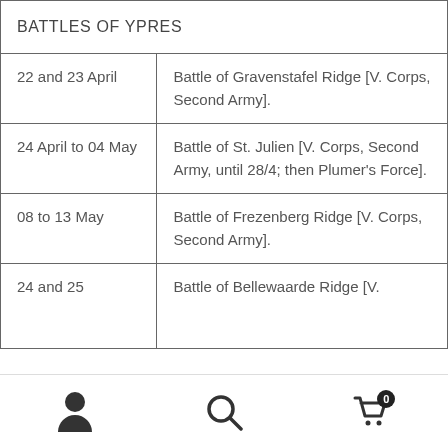|  |  |
| --- | --- |
| BATTLES OF YPRES |  |
| 22 and 23 April | Battle of Gravenstafel Ridge [V. Corps, Second Army]. |
| 24 April to 04 May | Battle of St. Julien [V. Corps, Second Army, until 28/4; then Plumer's Force]. |
| 08 to 13 May | Battle of Frezenberg Ridge [V. Corps, Second Army]. |
| 24 and 25 | Battle of Bellewaarde Ridge [V. |